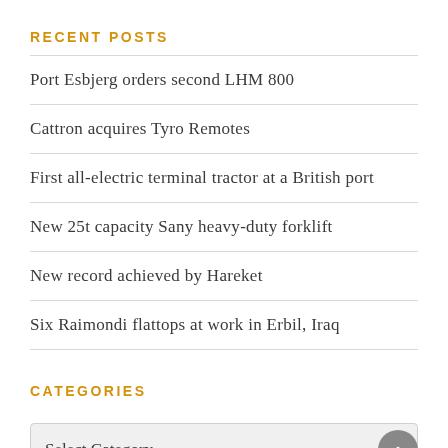RECENT POSTS
Port Esbjerg orders second LHM 800
Cattron acquires Tyro Remotes
First all-electric terminal tractor at a British port
New 25t capacity Sany heavy-duty forklift
New record achieved by Hareket
Six Raimondi flattops at work in Erbil, Iraq
CATEGORIES
Select Category